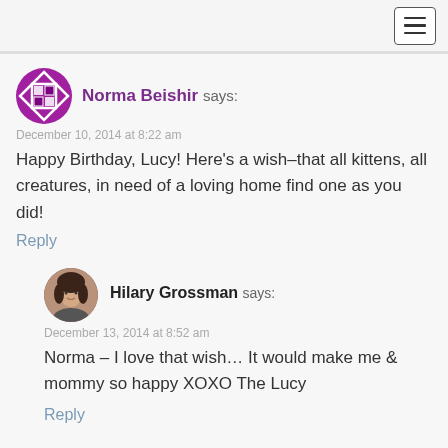[Figure (screenshot): Navigation bar with hamburger menu icon in top right corner]
Norma Beishir says:
December 10, 2014 at 8:22 am
Happy Birthday, Lucy! Here’s a wish–that all kittens, all creatures, in need of a loving home find one as you did!
Reply
[Figure (photo): Circular avatar photo of Hilary Grossman, a woman with dark hair]
Hilary Grossman says:
December 13, 2014 at 8:52 am
Norma – I love that wish… It would make me & mommy so happy XOXO The Lucy
Reply